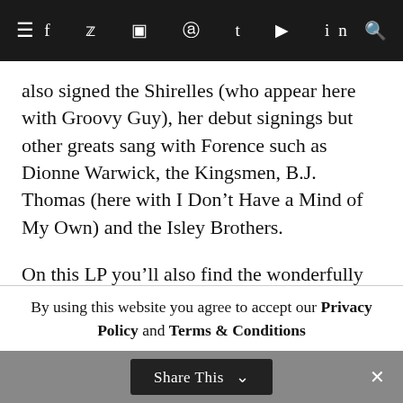≡  f  ✦  ⊙  ®  t  ▶  in  🔍
also signed the Shirelles (who appear here with Groovy Guy), her debut signings but other greats sang with Forence such as Dionne Warwick, the Kingsmen, B.J. Thomas (here with I Don’t Have a Mind of My Own) and the Isley Brothers.
On this LP you’ll also find the wonderfully monikered Irma & the Fascinators. Lost Love is typical of this compilation. Sharply recorded, tight and compressed to emphasise the
By using this website you agree to accept our Privacy Policy and Terms & Conditions
Share This